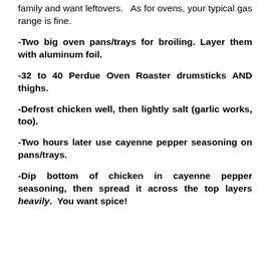family and want leftovers.   As for ovens, your typical gas range is fine.
-Two big oven pans/trays for broiling. Layer them with aluminum foil.
-32 to 40 Perdue Oven Roaster drumsticks AND thighs.
-Defrost chicken well, then lightly salt (garlic works, too).
-Two hours later use cayenne pepper seasoning on pans/trays.
-Dip bottom of chicken in cayenne pepper seasoning, then spread it across the top layers heavily.  You want spice!